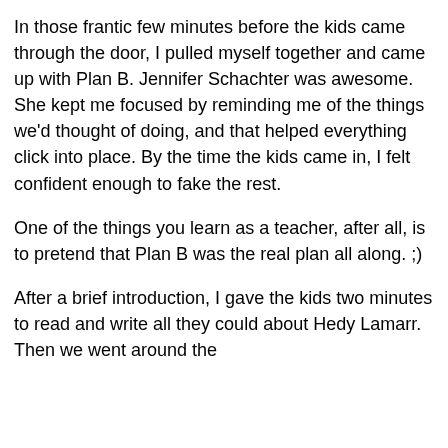In those frantic few minutes before the kids came through the door, I pulled myself together and came up with Plan B. Jennifer Schachter was awesome. She kept me focused by reminding me of the things we'd thought of doing, and that helped everything click into place. By the time the kids came in, I felt confident enough to fake the rest.
One of the things you learn as a teacher, after all, is to pretend that Plan B was the real plan all along. ;)
After a brief introduction, I gave the kids two minutes to read and write all they could about Hedy Lamarr. Then we went around the